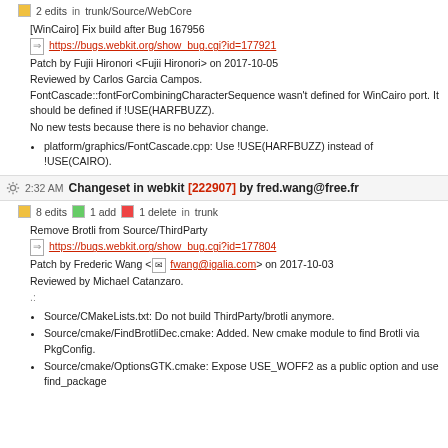2 edits in trunk/Source/WebCore
[WinCairo] Fix build after Bug 167956
https://bugs.webkit.org/show_bug.cgi?id=177921
Patch by Fujii Hironori <Fujii Hironori> on 2017-10-05
Reviewed by Carlos Garcia Campos.
FontCascade::fontForCombiningCharacterSequence wasn't defined for WinCairo port. It should be defined if !USE(HARFBUZZ).
No new tests because there is no behavior change.
platform/graphics/FontCascade.cpp: Use !USE(HARFBUZZ) instead of !USE(CAIRO).
2:32 AM Changeset in webkit [222907] by fred.wang@free.fr
8 edits 1 add 1 delete in trunk
Remove Brotli from Source/ThirdParty
https://bugs.webkit.org/show_bug.cgi?id=177804
Patch by Frederic Wang <fwang@igalia.com> on 2017-10-03
Reviewed by Michael Catanzaro.
.:
Source/CMakeLists.txt: Do not build ThirdParty/brotli anymore.
Source/cmake/FindBrotliDec.cmake: Added. New cmake module to find Brotli via PkgConfig.
Source/cmake/OptionsGTK.cmake: Expose USE_WOFF2 as a public option and use find_package